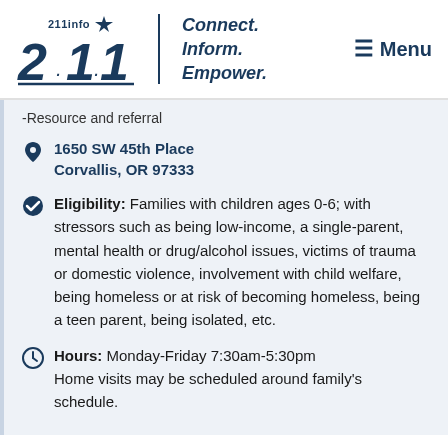[Figure (logo): 211info logo with star, vertical divider, tagline Connect. Inform. Empower., and Menu button]
-Resource and referral
1650 SW 45th Place
Corvallis, OR 97333
Eligibility: Families with children ages 0-6; with stressors such as being low-income, a single-parent, mental health or drug/alcohol issues, victims of trauma or domestic violence, involvement with child welfare, being homeless or at risk of becoming homeless, being a teen parent, being isolated, etc.
Hours: Monday-Friday 7:30am-5:30pm
Home visits may be scheduled around family's schedule.